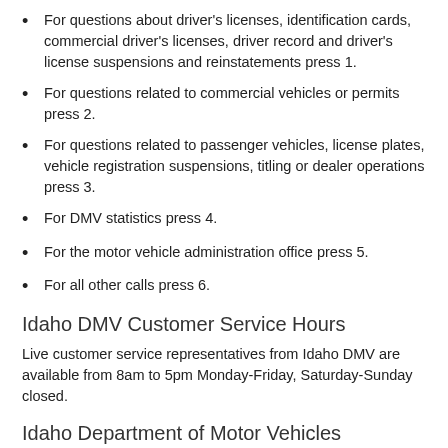For questions about driver's licenses, identification cards, commercial driver's licenses, driver record and driver's license suspensions and reinstatements press 1.
For questions related to commercial vehicles or permits press 2.
For questions related to passenger vehicles, license plates, vehicle registration suspensions, titling or dealer operations press 3.
For DMV statistics press 4.
For the motor vehicle administration office press 5.
For all other calls press 6.
Idaho DMV Customer Service Hours
Live customer service representatives from Idaho DMV are available from 8am to 5pm Monday-Friday, Saturday-Sunday closed.
Idaho Department of Motor Vehicles Customer Support Phones
ID DMV Customer Support Phone is 1-208-334-8000. Live customer service representatives from Idaho DMV are available